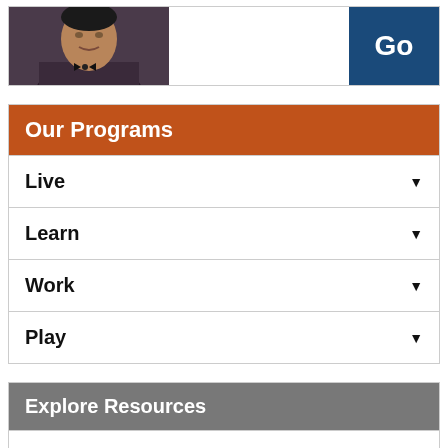[Figure (photo): Portrait photo of a person in dark clothing against a dark background, partially visible at top-left]
Go
Our Programs
Live
Learn
Work
Play
Explore Resources
Living With Autism
Living With Disability